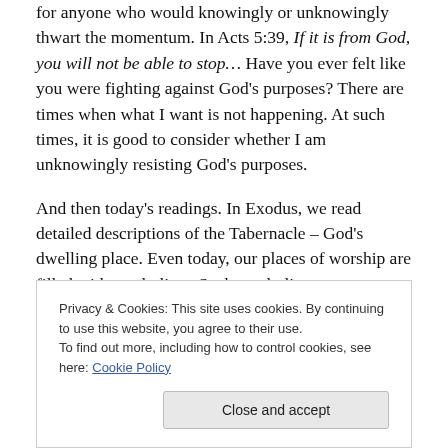for anyone who would knowingly or unknowingly thwart the momentum. In Acts 5:39, If it is from God, you will not be able to stop… Have you ever felt like you were fighting against God's purposes? There are times when what I want is not happening. At such times, it is good to consider whether I am unknowingly resisting God's purposes.
And then today's readings. In Exodus, we read detailed descriptions of the Tabernacle – God's dwelling place. Even today, our places of worship are filled with symbolism. Such symbolism attempts to make the attributes of the invisible God visible and present. As his...
Privacy & Cookies: This site uses cookies. By continuing to use this website, you agree to their use.
To find out more, including how to control cookies, see here: Cookie Policy
Close and accept